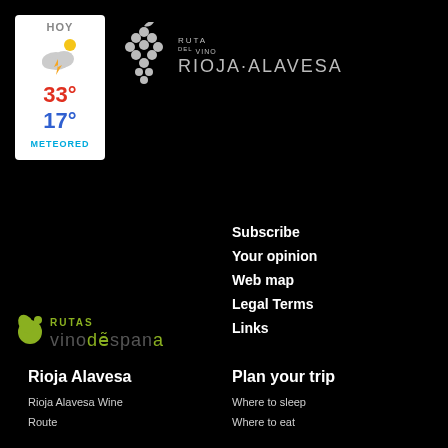[Figure (screenshot): Weather widget showing HOY, partly cloudy with lightning icon, high 33°, low 17°, METEORED brand]
[Figure (logo): Ruta del Vino Rioja Alavesa logo with grape cluster icon and text]
Subscribe
Your opinion
Web map
Legal Terms
Links
[Figure (logo): Rutas Vino España logo in olive/yellow-green color]
Rioja Alavesa
Rioja Alavesa Wine
Route
Plan your trip
Where to sleep
Where to eat